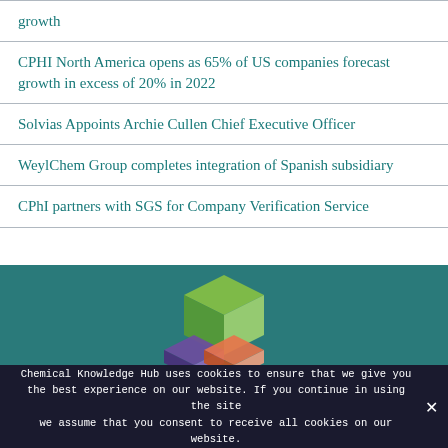growth
CPHI North America opens as 65% of US companies forecast growth in excess of 20% in 2022
Solvias Appoints Archie Cullen Chief Executive Officer
WeylChem Group completes integration of Spanish subsidiary
CPhI partners with SGS for Company Verification Service
[Figure (logo): 3D geometric cube logo made of green, purple, and orange cube shapes on teal background]
Chemical Knowledge Hub uses cookies to ensure that we give you the best experience on our website. If you continue in using the site we assume that you consent to receive all cookies on our website.